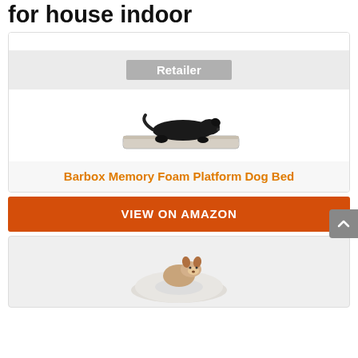for house indoor
| Retailer |
| --- |
[Figure (photo): A small black dog lying on a striped memory foam platform dog bed]
Barbox Memory Foam Platform Dog Bed
VIEW ON AMAZON
[Figure (photo): A small brown and white dog sitting in a round fluffy donut dog bed]